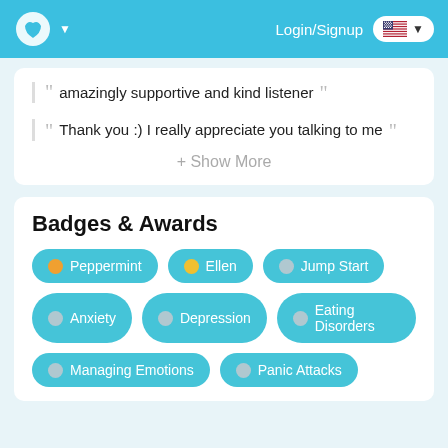Login/Signup
amazingly supportive and kind listener
Thank you :) I really appreciate you talking to me
+ Show More
Badges & Awards
Peppermint
Ellen
Jump Start
Anxiety
Depression
Eating Disorders
Managing Emotions
Panic Attacks